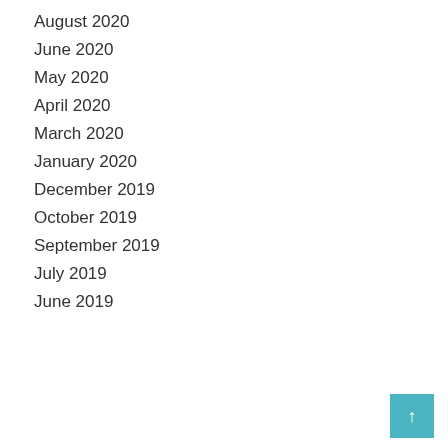August 2020
June 2020
May 2020
April 2020
March 2020
January 2020
December 2019
October 2019
September 2019
July 2019
June 2019